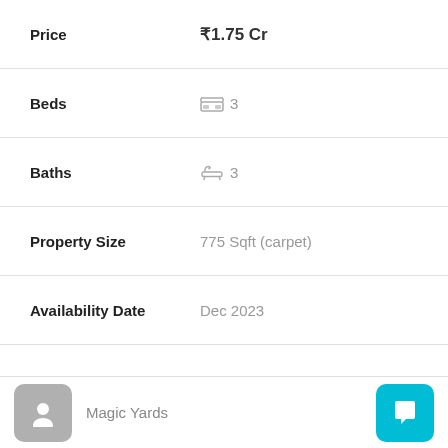| Field | Value |
| --- | --- |
| Price | ₹1.75 Cr |
| Beds | 3 |
| Baths | 3 |
| Property Size | 775 Sqft (carpet) |
| Availability Date | Dec 2023 |
| Title | Elite Ashwini Elite |
| Property Type | 3 BHK |
| Price | ₹1.82 Cr |
Magic Yards